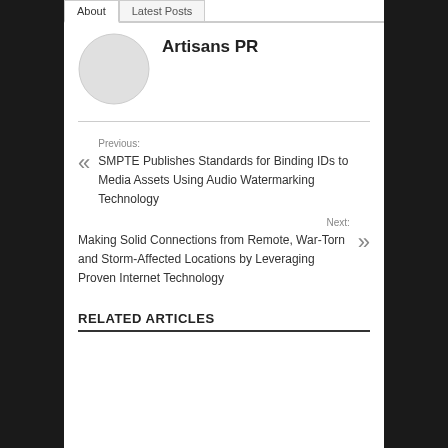About | Latest Posts
Artisans PR
[Figure (illustration): Circular avatar placeholder in light grey]
Previous: SMPTE Publishes Standards for Binding IDs to Media Assets Using Audio Watermarking Technology
Next: Making Solid Connections from Remote, War-Torn and Storm-Affected Locations by Leveraging Proven Internet Technology
RELATED ARTICLES